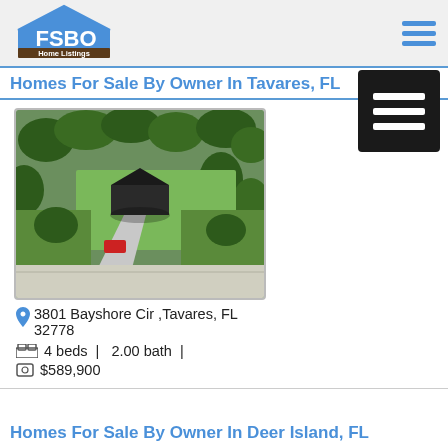[Figure (logo): FSBO Home Listings logo with blue house icon]
Homes For Sale By Owner In Tavares, FL
[Figure (photo): Aerial drone photo of property at 3801 Bayshore Cir, Tavares, FL showing house surrounded by trees and green lawn]
3801 Bayshore Cir ,Tavares, FL 32778
4 beds  |  2.00 bath  |  $589,900
Homes For Sale By Owner In Deer Island, FL